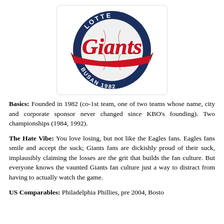[Figure (logo): Lotte Giants baseball team logo. A circular dark navy blue ring with 'LOTTE' at the top and 'BUSAN 1982' at the bottom in white text. Inside the ring is a large white baseball. Over the baseball, in large red script lettering, is 'Giants' with a red swoosh/ribbon underneath.]
Basics: Founded in 1982 (co-1st team, one of two teams whose name, city and corporate sponsor never changed since KBO's founding). Two championships (1984, 1992).
The Hate Vibe: You love losing, but not like the Eagles fans. Eagles fans smile and accept the suck; Giants fans are dickishly proud of their suck, implausibly claiming the losses are the grit that builds the fan culture. But everyone knows the vaunted Giants fan culture just a way to distract from having to actually watch the game.
US Comparables: Philadelphia Phillies, pre 2004, Bosto...